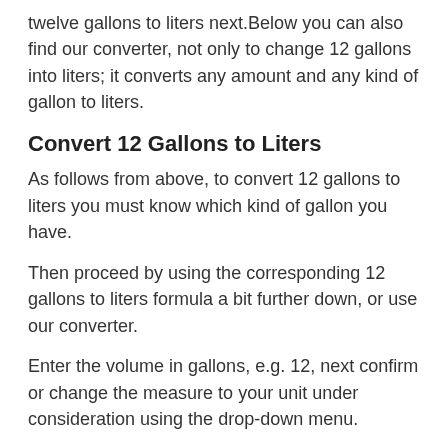twelve gallons to liters next.Below you can also find our converter, not only to change 12 gallons into liters; it converts any amount and any kind of gallon to liters.
Convert 12 Gallons to Liters
As follows from above, to convert 12 gallons to liters you must know which kind of gallon you have.
Then proceed by using the corresponding 12 gallons to liters formula a bit further down, or use our converter.
Enter the volume in gallons, e.g. 12, next confirm or change the measure to your unit under consideration using the drop-down menu.
The result is then calculated automatically.
We now show you how to convert 12 gallons to liters using the formulas from our home page: